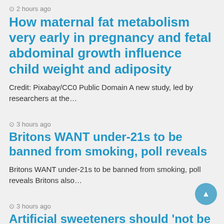2 hours ago
How maternal fat metabolism very early in pregnancy and fetal abdominal growth influence child weight and adiposity
Credit: Pixabay/CC0 Public Domain A new study, led by researchers at the…
3 hours ago
Britons WANT under-21s to be banned from smoking, poll reveals
Britons WANT under-21s to be banned from smoking, poll reveals Britons also…
3 hours ago
Artificial sweeteners should 'not be assumed to be safe', scientist warns
Artificial sweeteners used in diet sodas and low-fat desserts should 'not be…